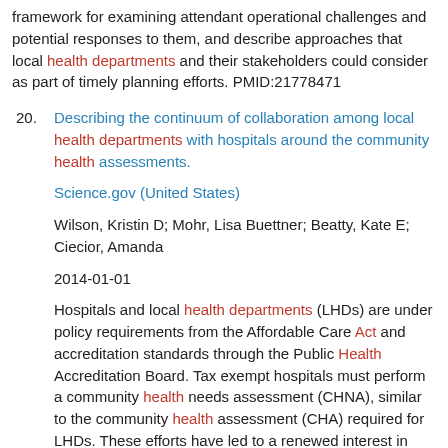framework for examining attendant operational challenges and potential responses to them, and describe approaches that local health departments and their stakeholders could consider as part of timely planning efforts. PMID:21778471
20. Describing the continuum of collaboration among local health departments with hospitals around the community health assessments.

Science.gov (United States)

Wilson, Kristin D; Mohr, Lisa Buettner; Beatty, Kate E; Ciecior, Amanda

2014-01-01

Hospitals and local health departments (LHDs) are under policy requirements from the Affordable Care Act and accreditation standards through the Public Health Accreditation Board. Tax exempt hospitals must perform a community health needs assessment (CHNA), similar to the community health assessment (CHA) required for LHDs. These efforts have led to a renewed interest in hospitals and LHDs working together to achieve common goals. The purpose of this study is to gain a